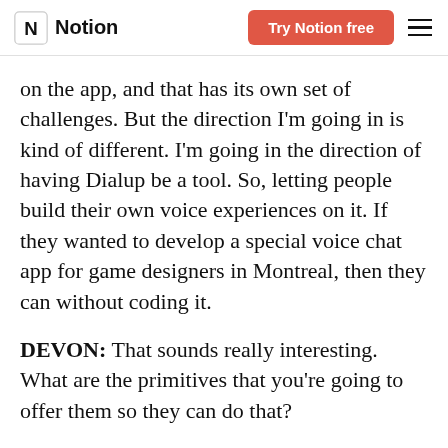Notion | Try Notion free
on the app, and that has its own set of challenges. But the direction I'm going in is kind of different. I'm going in the direction of having Dialup be a tool. So, letting people build their own voice experiences on it. If they wanted to develop a special voice chat app for game designers in Montreal, then they can without coding it.
DEVON: That sounds really interesting. What are the primitives that you're going to offer them so they can do that?
DANIELLE: The ability to have this